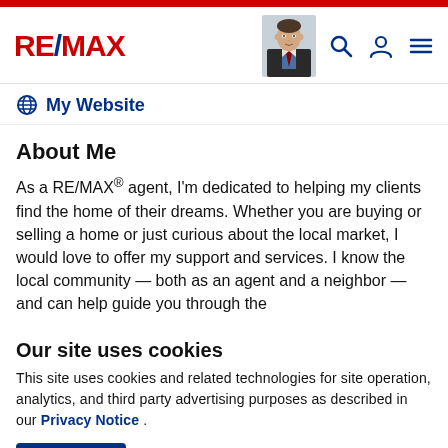RE/MAX
My Website
About Me
As a RE/MAX® agent, I'm dedicated to helping my clients find the home of their dreams. Whether you are buying or selling a home or just curious about the local market, I would love to offer my support and services. I know the local community — both as an agent and a neighbor — and can help guide you through the
Our site uses cookies
This site uses cookies and related technologies for site operation, analytics, and third party advertising purposes as described in our Privacy Notice .
ACCEPT